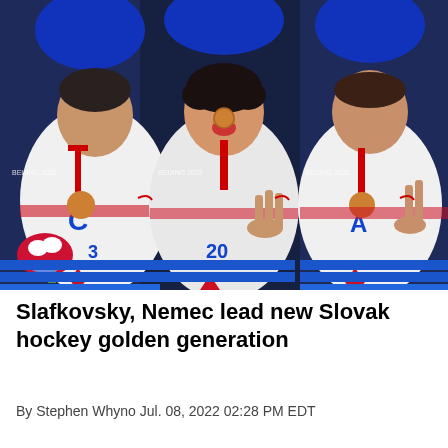[Figure (photo): Three Slovak ice hockey players in white and blue Slovakia jerseys with red trim celebrating with bronze medals around their necks at what appears to be the 2022 Beijing Winter Olympics. The player on the left wears a 'C' (captain) on his jersey and holds a bouquet of flowers. The middle player, appearing young, bites his medal and holds up three fingers. The player on the right wears an 'A' (alternate captain) and holds up fingers. Players in the background also wear blue jerseys.]
Slafkovsky, Nemec lead new Slovak hockey golden generation
By Stephen Whyno Jul. 08, 2022 02:28 PM EDT